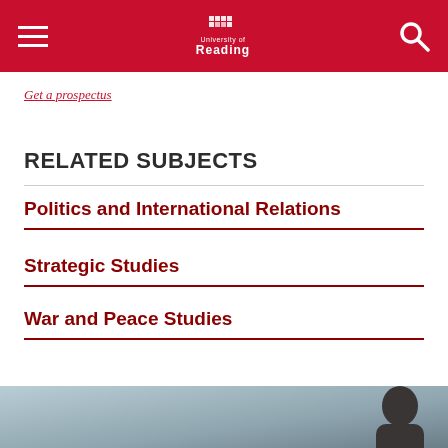University of Reading
Get a prospectus
RELATED SUBJECTS
Politics and International Relations
Strategic Studies
War and Peace Studies
[Figure (photo): Bottom photo showing a blurred background with a person silhouette on the right side]